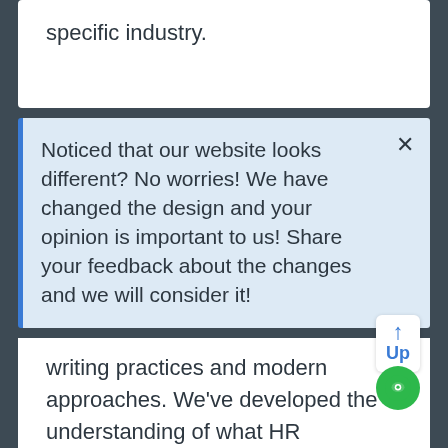specific industry.
Noticed that our website looks different? No worries! We have changed the design and your opinion is important to us! Share your feedback about the changes and we will consider it!
writing practices and modern approaches. We've developed the understanding of what HR professionals truly look for in resumes, and use this knowledge to help you impress them